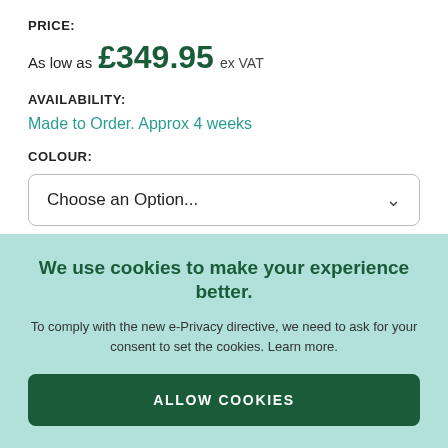PRICE:
As low as £349.95 ex VAT
AVAILABILITY:
Made to Order. Approx 4 weeks
COLOUR:
Choose an Option...
We use cookies to make your experience better.
To comply with the new e-Privacy directive, we need to ask for your consent to set the cookies. Learn more.
ALLOW COOKIES